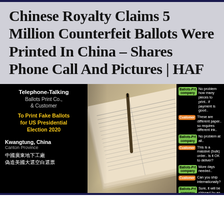Chinese Royalty Claims 5 Million Counterfeit Ballots Were Printed In China – Shares Phone Call And Pictures | HAF
[Figure (infographic): A composite image on a black background. Left panel: text about a telephone conversation between Ballots Print Co. and a customer, about printing fake ballots for US Presidential Election 2020, in Kwangtung, China / Canton Province, with Chinese text. Center: photograph of stacked printed ballots/documents. Right panel: chat transcript between 'Ballots-Prt company' (green badge) and 'Customer' (orange badge) discussing printing, paper, bulk order, international shipping, and cost.]